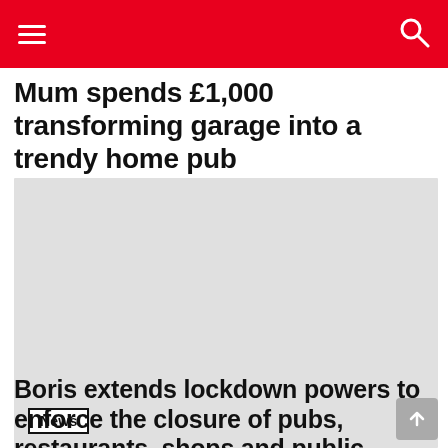Navigation header with hamburger menu and search icon
Mum spends £1,000 transforming garage into a trendy home pub
[Figure (photo): Large light grey image placeholder for article photo]
News
Boris extends lockdown powers to enforce the closure of pubs, restaurants, shops and public spaces until July 17th